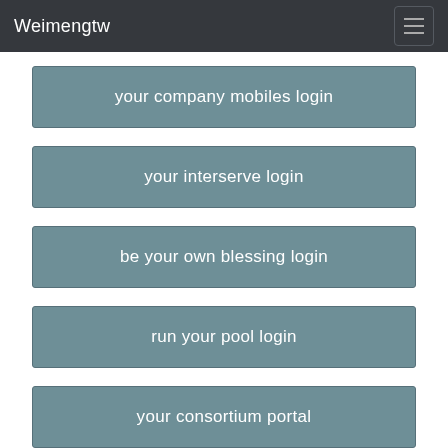Weimengtw
your company mobiles login
your interserve login
be your own blessing login
run your pool login
your consortium portal